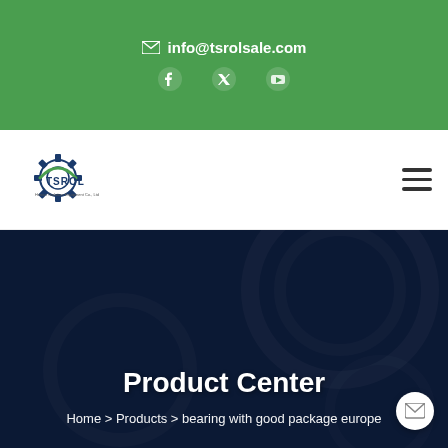info@tsrolsale.com
[Figure (logo): TSROL company logo with gear icon]
Product Center
Home > Products > bearing with good package europe